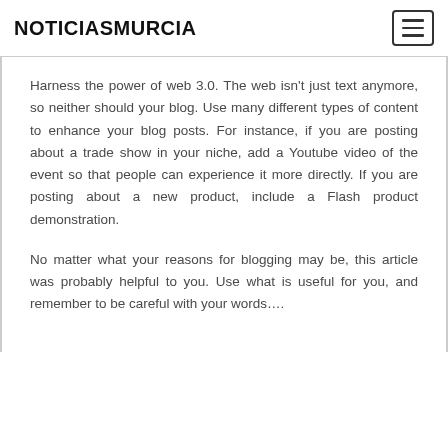NOTICIASMURCIA
Harness the power of web 3.0. The web isn't just text anymore, so neither should your blog. Use many different types of content to enhance your blog posts. For instance, if you are posting about a trade show in your niche, add a Youtube video of the event so that people can experience it more directly. If you are posting about a new product, include a Flash product demonstration.
No matter what your reasons for blogging may be, this article was probably helpful to you. Use what is useful for you, and remember to be careful with your words….